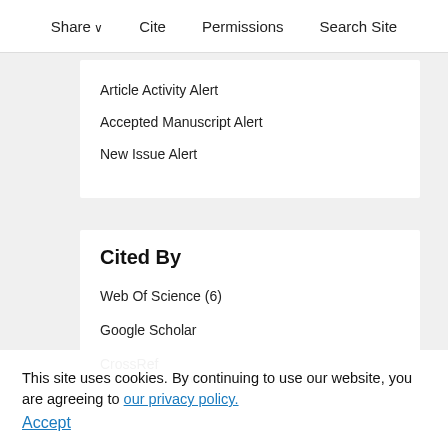Share ∨   Cite   Permissions   Search Site
Article Activity Alert
Accepted Manuscript Alert
New Issue Alert
Cited By
Web Of Science (6)
Google Scholar
CrossRef
This site uses cookies. By continuing to use our website, you are agreeing to our privacy policy. Accept
Latest   Most Read   Most Cited
Asymmetric nugget growth in aluminum